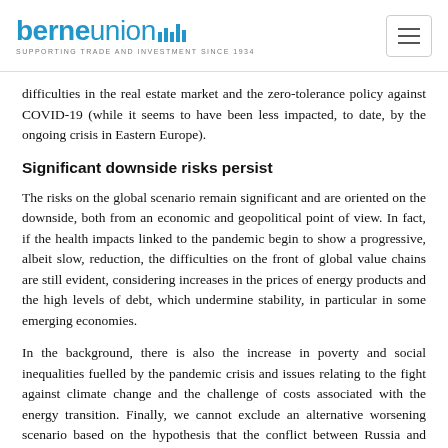berne union | SUPPORTING TRADE AND INVESTMENT SINCE 1934
difficulties in the real estate market and the zero-tolerance policy against COVID-19 (while it seems to have been less impacted, to date, by the ongoing crisis in Eastern Europe).
Significant downside risks persist
The risks on the global scenario remain significant and are oriented on the downside, both from an economic and geopolitical point of view. In fact, if the health impacts linked to the pandemic begin to show a progressive, albeit slow, reduction, the difficulties on the front of global value chains are still evident, considering increases in the prices of energy products and the high levels of debt, which undermine stability, in particular in some emerging economies.
In the background, there is also the increase in poverty and social inequalities fuelled by the pandemic crisis and issues relating to the fight against climate change and the challenge of costs associated with the energy transition. Finally, we cannot exclude an alternative worsening scenario based on the hypothesis that the conflict between Russia and Ukraine will